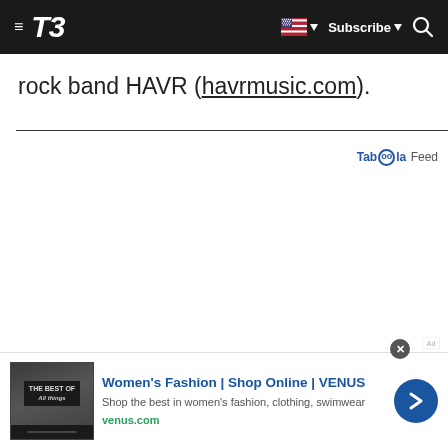T3 — Subscribe
rock band HAVR (havrmusic.com).
Taboola Feed
[Figure (other): Advertisement for Women's Fashion | Shop Online | VENUS. Shop the best in women's fashion, clothing, swimwear. venus.com]
Women's Fashion | Shop Online | VENUS
Shop the best in women's fashion, clothing, swimwear
venus.com